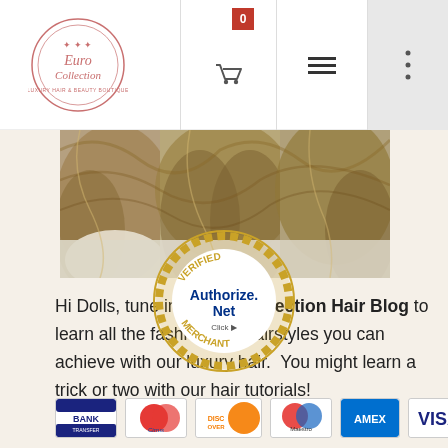[Figure (logo): Euro Collection circular logo with pink/red border and script text]
[Figure (photo): Three women with long blonde wavy hair wearing white sweaters]
Hi Dolls, tune into Euro Collection Hair Blog to learn all the fashionable hairstyles you can achieve with our luxury hair.  You might learn a trick or two with our hair tutorials!
[Figure (logo): Authorize.Net Verified Merchant Click badge - gold circular seal]
[Figure (logo): Payment method icons: BANK, Cirrus, Discover, Maestro, AMEX, VISA]